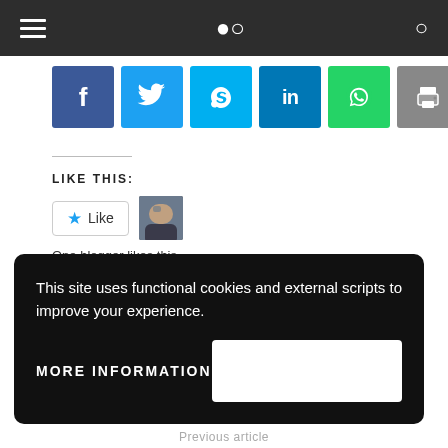[Figure (infographic): Social share buttons: Facebook (blue), Twitter (light blue), Skype (cyan), LinkedIn (dark blue), WhatsApp (green), Print (gray)]
LIKE THIS:
[Figure (infographic): WordPress Like widget with star Like button and one blogger avatar]
One blogger likes this.
This site uses functional cookies and external scripts to improve your experience.
MORE INFORMATION
Previous article